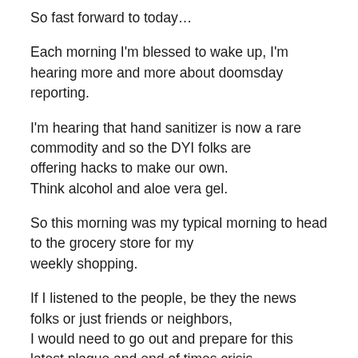So fast forward to today…
Each morning I'm blessed to wake up, I'm hearing more and more about doomsday reporting.
I'm hearing that hand sanitizer is now a rare commodity and so the DYI folks are offering hacks to make our own. Think alcohol and aloe vera gel.
So this morning was my typical morning to head to the grocery store for my weekly shopping.
If I listened to the people, be they the news folks or just friends or neighbors, I would need to go out and prepare for this latest plague and end of times crisis…